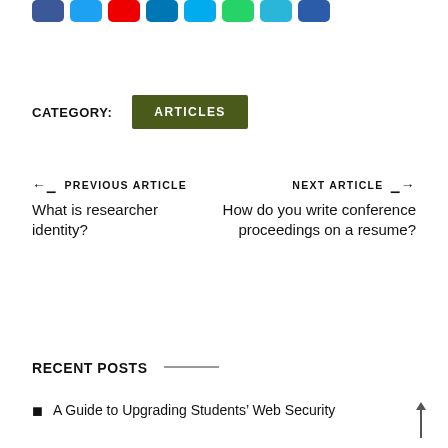[Figure (other): Row of social media share buttons: Facebook (blue), Twitter (light blue), YouTube (red), LinkedIn (blue), Messenger (light blue), WhatsApp (green), Telegram (teal), another blue button]
CATEGORY:   ARTICLES
← PREVIOUS ARTICLE
What is researcher identity?
NEXT ARTICLE →
How do you write conference proceedings on a resume?
RECENT POSTS
A Guide to Upgrading Students' Web Security